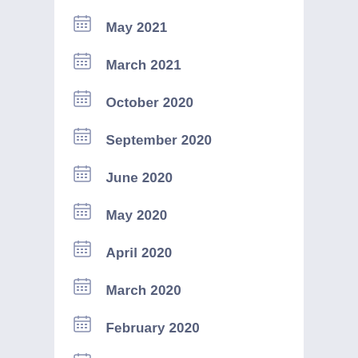May 2021
March 2021
October 2020
September 2020
June 2020
May 2020
April 2020
March 2020
February 2020
January 2020
December 2019
November 2019